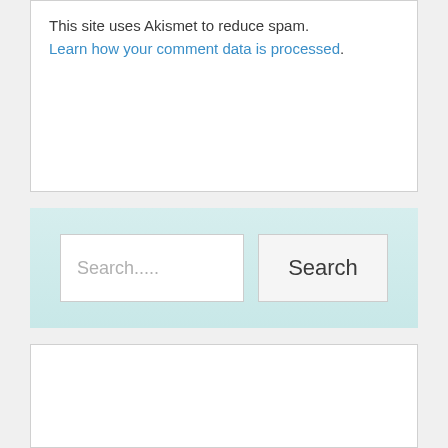This site uses Akismet to reduce spam. Learn how your comment data is processed.
[Figure (screenshot): Search bar UI with a text input showing placeholder 'Search.....' and a 'Search' button, on a light teal background]
[Figure (screenshot): Empty white content box at the bottom of the page]